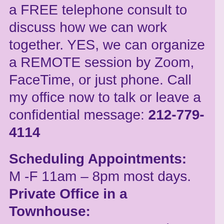a FREE telephone consult to discuss how we can work together. YES, we can organize a REMOTE session by Zoom, FaceTime, or just phone. Call my office now to talk or leave a confidential message: 212-779-4114
Scheduling Appointments: M -F 11am – 8pm most days. Private Office in a Townhouse: 109 East 36 Street at Park Ave. Participating IN-NETWORK for: Cigna, BCBS group, United Health